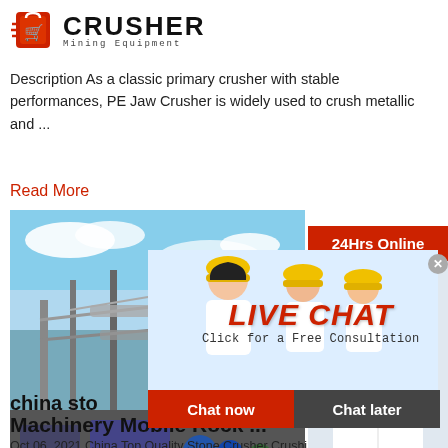[Figure (logo): Crusher Mining Equipment logo with red shopping bag icon and bold CRUSHER text]
Description As a classic primary crusher with stable performances, PE Jaw Crusher is widely used to crush metallic and ...
Read More
[Figure (photo): Industrial mining/crushing facility with steel structure and blue sky]
china sto
Machinery Mobile Rock ...
Oct 06, 2021  China Top Quality Stone Crusher Crushing Plant For ... China Crusher Plants Mining manufacturers - Select 2020 high quality Crushing Mining products in best price from certified China Equipment manufacturers, Mining Machine suppliers, wholesalers and factory on Made-in-China
[Figure (photo): Live chat popup overlay with workers in yellow helmets and LIVE CHAT text, with Chat now and Chat later buttons]
[Figure (photo): Right sidebar with 24Hrs Online banner, customer service lady with headset, Need questions & suggestion, Chat Now button, Enquiry section, and limingjlmofen@sina.com email]